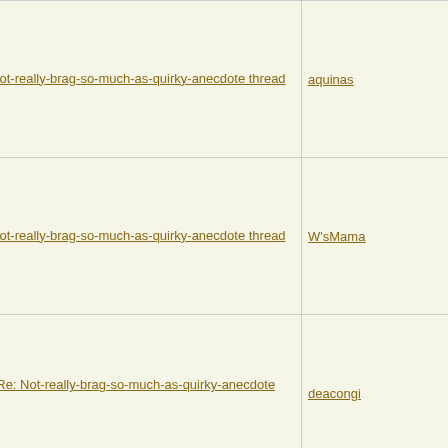| Subject | Author |
| --- | --- |
| Re: Not-really-brag-so-much-as-quirky-anecdote thread | aquinas |
| Re: Not-really-brag-so-much-as-quirky-anecdote thread | W'sMama |
| Re: Not-really-brag-so-much-as-quirky-anecdote thread | deacongi |
| Re: Not-really-brag-so-much-as-quirky-anecdote thread | KADmom |
| Re: Not-really-brag-so-much-as-quirky-anecdote thread | KADmom |
| Re: Not-really-brag-so-much-as-quirky-anecdote thread | Elizabeth |
| Re: Not-really-brag-so-much-as-quirky-anecdote thread | JoniLaw |